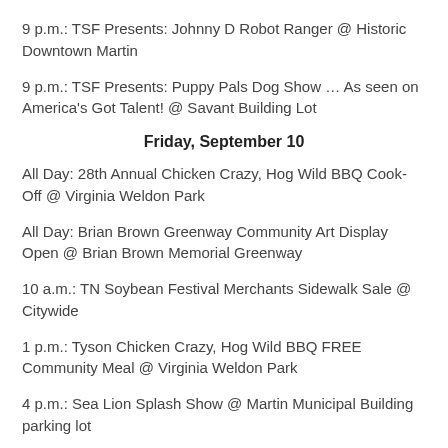9 p.m.: TSF Presents: Johnny D Robot Ranger @ Historic Downtown Martin
9 p.m.: TSF Presents: Puppy Pals Dog Show … As seen on America's Got Talent! @ Savant Building Lot
Friday, September 10
All Day: 28th Annual Chicken Crazy, Hog Wild BBQ Cook-Off @ Virginia Weldon Park
All Day: Brian Brown Greenway Community Art Display Open @ Brian Brown Memorial Greenway
10 a.m.: TN Soybean Festival Merchants Sidewalk Sale @ Citywide
1 p.m.: Tyson Chicken Crazy, Hog Wild BBQ FREE Community Meal @ Virginia Weldon Park
4 p.m.: Sea Lion Splash Show @ Martin Municipal Building parking lot
4:30 p.m.: TSF Presents: Flippen Out @ Historic Downtown